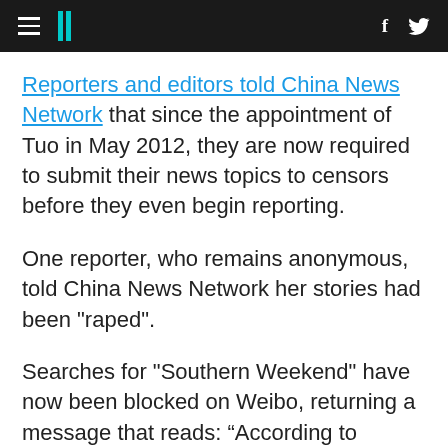HuffPost navigation header with hamburger menu, logo, Facebook and Twitter icons
Reporters and editors told China News Network that since the appointment of Tuo in May 2012, they are now required to submit their news topics to censors before they even begin reporting.
One reporter, who remains anonymous, told China News Network her stories had been "raped".
Searches for "Southern Weekend" have now been blocked on Weibo, returning a message that reads: “According to relevant laws, regulations and policies the search results for ‘Southern Weekly’ cannot be shown.”